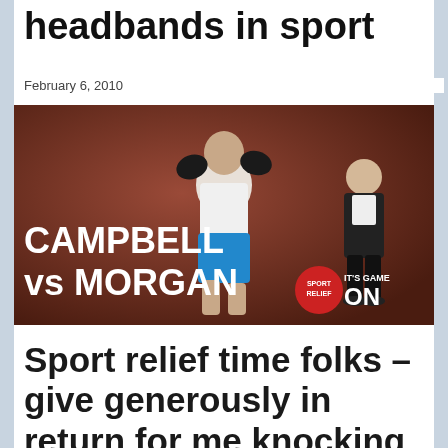headbands in sport
February 6, 2010
[Figure (photo): Promotional photo for Sport Relief showing a man in boxing gloves and blue shorts in a boxing stance with the text 'CAMPBELL vs MORGAN' overlaid, and another man in a suit standing to the right. A red Sport Relief badge and 'IT'S GAME ON' text appear in the lower right corner.]
Sport relief time folks – give generously in return for me knocking